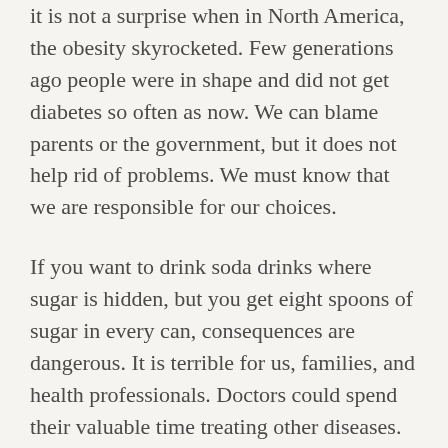it is not a surprise when in North America, the obesity skyrocketed. Few generations ago people were in shape and did not get diabetes so often as now. We can blame parents or the government, but it does not help rid of problems. We must know that we are responsible for our choices.
If you want to drink soda drinks where sugar is hidden, but you get eight spoons of sugar in every can, consequences are dangerous. It is terrible for us, families, and health professionals. Doctors could spend their valuable time treating other diseases.
Unfortunately, it is not easy to get rid of bad habits. Happily, soda taxes make turmoil, which makes people think why these taxes on soda